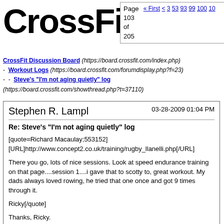CrossFit
Page 103 of 205  « First < 3 53 93 99 100 10...
CrossFit Discussion Board (https://board.crossfit.com/index.php)
- Workout Logs (https://board.crossfit.com/forumdisplay.php?f=23)
- - Steve's "I'm not aging quietly" log (https://board.crossfit.com/showthread.php?t=37110)
Stephen R. Lampl  03-28-2009 01:04 PM

Re: Steve's "I'm not aging quietly" log

[quote=Richard Macaulay;553152]
[URL]http://www.concept2.co.uk/training/rugby_llanelli.php[/URL]

There you go, lots of nice sessions. Look at speed endurance training on that page....session 1....i gave that to scotty to, great workout. My dads always loved rowing, he tried that one once and got 9 times through it.

Ricky[/quote]

Thanks, Ricky.